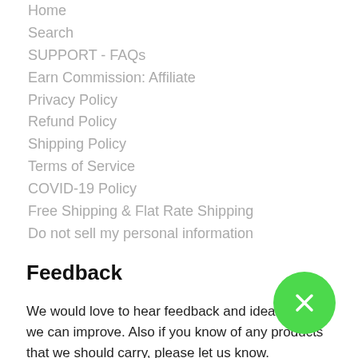Home
Search
SUPPORT - FAQs
Earn Commission: Affiliate
Privacy Policy
Refund Policy
Shipping Policy
Terms of Service
COVID-19 Policy
Free Shipping & Flat Rate Shipping
Do not sell my personal information
Feedback
We would love to hear feedback and ideas on how we can improve. Also if you know of any products that we should carry, please let us know. info@naturalzing.com
Keep in Touch
Sign up for our newsletter and be the first to know about coupons and special promotions.